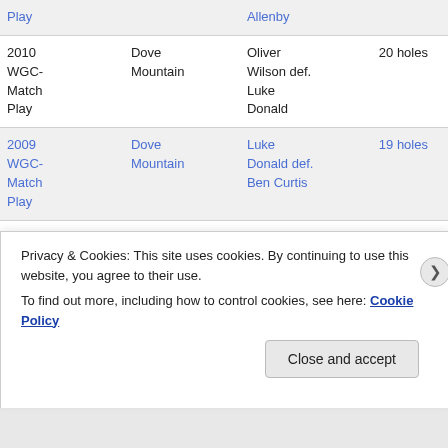| Year/Event | Venue | Winner | Score |
| --- | --- | --- | --- |
| Play |  | Allenby |  |
| 2010 WGC-Match Play | Dove Mountain | Oliver Wilson def. Luke Donald | 20 holes |
| 2009 WGC-Match Play | Dove Mountain | Luke Donald def. Ben Curtis | 19 holes |
| 2009 |  |  |  |
Privacy & Cookies: This site uses cookies. By continuing to use this website, you agree to their use.
To find out more, including how to control cookies, see here: Cookie Policy